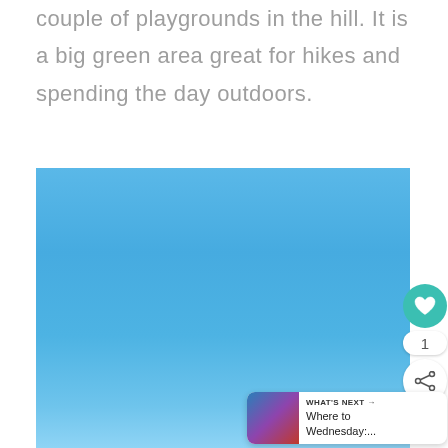couple of playgrounds in the hill. It is a big green area great for hikes and spending the day outdoors.
[Figure (photo): Photo showing a blue sky gradient, light to deeper blue, taken outdoors. UI overlay elements visible: heart/like button (teal circle), count badge showing '1', share button, and a 'WHAT'S NEXT' card reading 'Where to Wednesday:...']